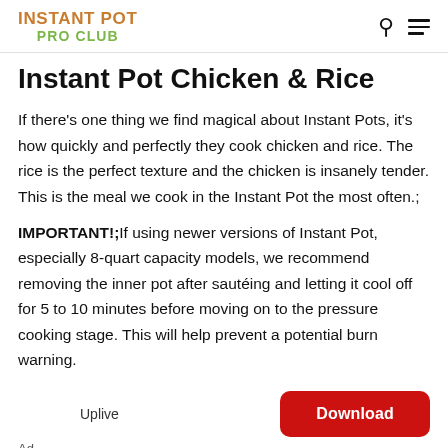INSTANT POT PRO CLUB
Instant Pot Chicken & Rice
If there's one thing we find magical about Instant Pots, it's how quickly and perfectly they cook chicken and rice. The rice is the perfect texture and the chicken is insanely tender. This is the meal we cook in the Instant Pot the most often.;
IMPORTANT!;If using newer versions of Instant Pot, especially 8-quart capacity models, we recommend removing the inner pot after sautéing and letting it cool off for 5 to 10 minutes before moving on to the pressure cooking stage. This will help prevent a potential burn warning.
Uplive   Download   Ad